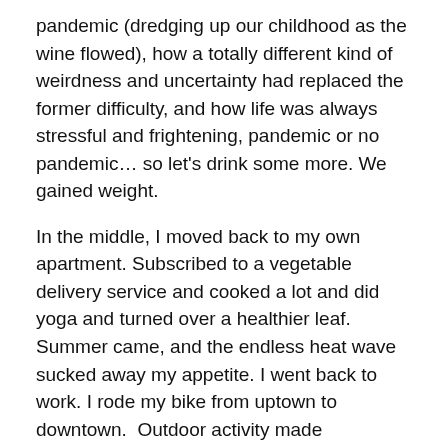pandemic (dredging up our childhood as the wine flowed), how a totally different kind of weirdness and uncertainty had replaced the former difficulty, and how life was always stressful and frightening, pandemic or no pandemic… so let's drink some more. We gained weight.
In the middle, I moved back to my own apartment. Subscribed to a vegetable delivery service and cooked a lot and did yoga and turned over a healthier leaf. Summer came, and the endless heat wave sucked away my appetite. I went back to work. I rode my bike from uptown to downtown.  Outdoor activity made everything seem just a little normal, intermittently pleasurable. Most of the weight came off.
In part 2 of the middle, election season took over, and everything went to shit again. Night-snacking, drinking,